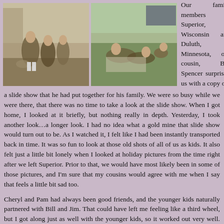[Figure (photo): Two old photographs side by side. Left photo shows children standing together outdoors. Right photo shows children sitting/playing on the ground outdoors.]
Our family members in Superior, Wisconsin and Duluth, Minnesota, our cousin, Bill Spencer surprised us with a copy of a slide show that he had put together for his family. We were so busy while we were there, that there was no time to take a look at the slide show. When I got home, I looked at it briefly, but nothing really in depth. Yesterday, I took another look…a longer look. I had no idea what a gold mine that slide show would turn out to be. As I watched it, I felt like I had been instantly transported back in time. It was so fun to look at those old shots of all of us as kids. It also felt just a little bit lonely when I looked at holiday pictures from the time right after we left Superior. Prior to that, we would have most likely been in some of those pictures, and I'm sure that my cousins would agree with me when I say that feels a little bit sad too.
Cheryl and Pam had always been good friends, and the younger kids naturally partnered with Bill and Jim. That could have left me feeling like a third wheel, but I got along just as well with the younger kids, so it worked out very well. The reality was that I thought the stuff the younger kids were doing was more fun most of the time anyway. Not to say that I wouldn't have wanted to spend time with Cheryl and Pam, but I was a pretty active kid. and the rough housing that the younger kids and I did was quite appealing to me. In fact, I probably instigated much of it…if not all of it.
I was really into gymnastics, with tumbling being my favorite part of it. My